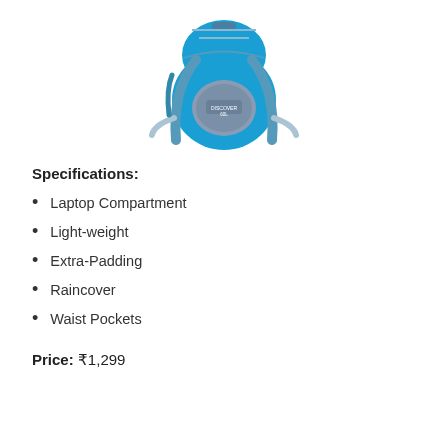[Figure (photo): A blue and grey hiking/trekking backpack with shoulder straps and waist straps, viewed from the front. The bag has multiple compartments and appears to be a Discover brand bag.]
Specifications:
Laptop Compartment
Light-weight
Extra-Padding
Raincover
Waist Pockets
Price: ₹1,299